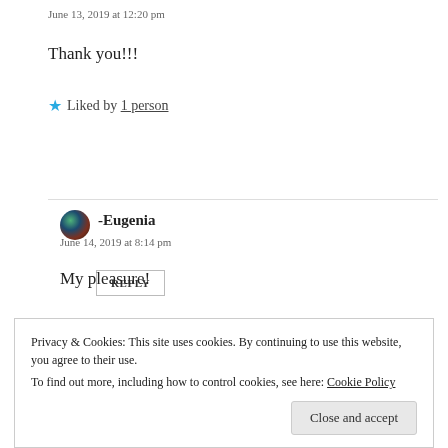June 13, 2019 at 12:20 pm
Thank you!!!
★ Liked by 1 person
REPLY
-Eugenia
June 14, 2019 at 8:14 pm
My pleasure!
Privacy & Cookies: This site uses cookies. By continuing to use this website, you agree to their use. To find out more, including how to control cookies, see here: Cookie Policy
Close and accept